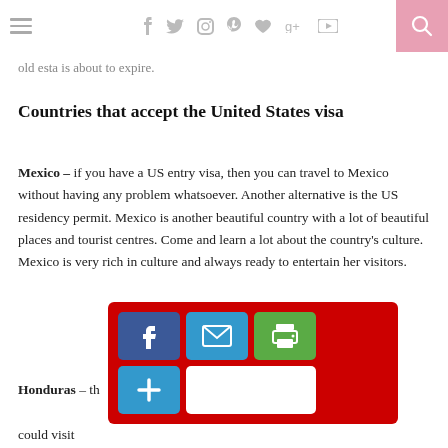[navigation bar with hamburger menu, social icons, and search]
old esta is about to expire.
Countries that accept the United States visa
Mexico – if you have a US entry visa, then you can travel to Mexico without having any problem whatsoever. Another alternative is the US residency permit. Mexico is another beautiful country with a lot of beautiful places and tourist centres. Come and learn a lot about the country's culture. Mexico is very rich in culture and always ready to entertain her visitors.
[Figure (infographic): Social sharing bar with red background, containing Facebook (blue), email (blue), print (green) buttons in top row, and a plus/add button with white count box in second row]
Honduras – th[e] ... one could visit